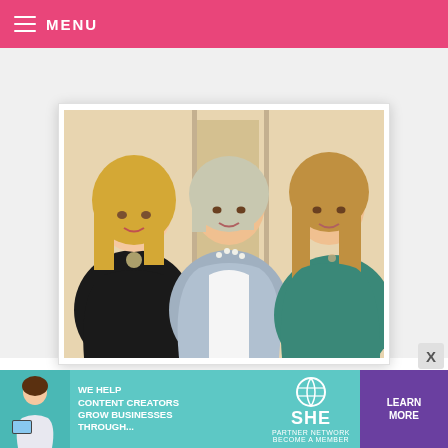MENU
[Figure (photo): Three smiling women posing together for a photo. The woman on the left has blonde hair and wears a black top with a necklace. The woman in the middle wears a light blue/grey patterned cardigan over a white top with a pearl necklace. The woman on the right has auburn/blonde hair and wears a teal/green top.]
Or get a picture taken with her. Hey, Paula!
My mom and I were so thrilled. She is every bit as beautiful and funny and nice as she is on TV. (And I do mean funny. We also had the opportunity to he
[Figure (infographic): Advertisement banner: 'WE HELP CONTENT CREATORS GROW BUSINESSES THROUGH...' with SHE PARTNER NETWORK logo and 'LEARN MORE' button in purple. Teal/turquoise background.]